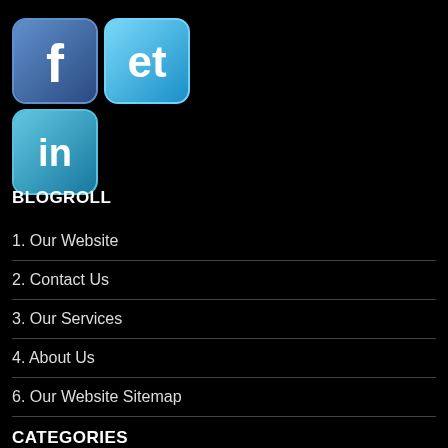[Figure (logo): Social media icons: Facebook (f), Twitter (bird), LinkedIn (in) arranged in two rows on black background]
BLOGROLL
1. Our Website
2. Contact Us
3. Our Services
4. About Us
6. Our Website Sitemap
CATEGORIES